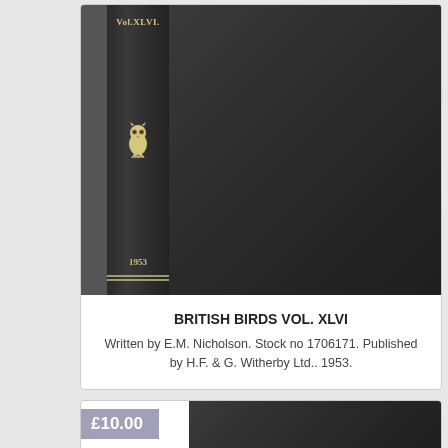[Figure (photo): Photograph of a dark navy/black hardcover book spine showing 'Vol.XLVI.' at the top, a small white owl emblem in the middle, and '1953' near the bottom, set against the book's dark cover.]
BRITISH BIRDS VOL. XLVI
Written by E.M. Nicholson. Stock no 1706171. Published by H.F. & G. Witherby Ltd.. 1953.
[Figure (photo): Partially visible second book listing showing a £10.00 price badge and the dark cover of another book.]